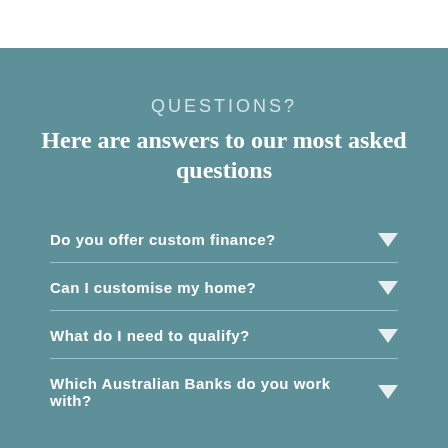QUESTIONS?
Here are answers to our most asked questions
Do you offer custom finance?
Can I customise my home?
What do I need to qualify?
Which Australian Banks do you work with?